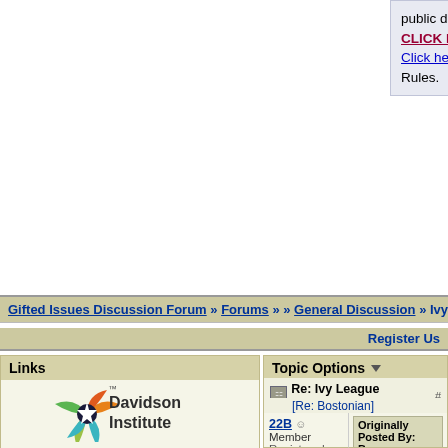public discussion forum. CLICK HERE to Log In. Click here for the Board Rules.
Gifted Issues Discussion Forum » Forums » » General Discussion » Ivy Lea...
Register Us...
Links
[Figure (logo): Davidson Institute logo with colorful leaf/arrow pinwheel and text 'Davidson Institute']
Learn about the Davidson Academy's online campus for profoundly gifted students living anywhere in the U.S.
The Davidson Institute is a national nonprofit dedicated to supporting profoundly gifted students through the following programs:
Topic Options
Re: Ivy League Admissions.
[Re: Bostonian]
22B Member
Registered: 02/10/13
Posts: 1228
Originally Posted By: Bo...
Originally Posted ...
Quote:
But the preparation university be academ...
You did ask abo...